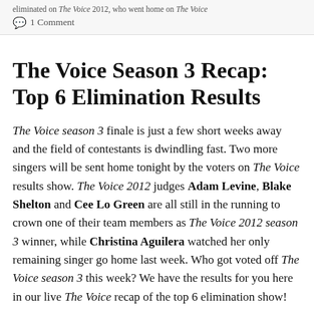eliminated on The Voice 2012, who went home on The Voice
💬 1 Comment
The Voice Season 3 Recap: Top 6 Elimination Results
The Voice season 3 finale is just a few short weeks away and the field of contestants is dwindling fast. Two more singers will be sent home tonight by the voters on The Voice results show. The Voice 2012 judges Adam Levine, Blake Shelton and Cee Lo Green are all still in the running to crown one of their team members as The Voice 2012 season 3 winner, while Christina Aguilera watched her only remaining singer go home last week. Who got voted off The Voice season 3 this week? We have the results for you here in our live The Voice recap of the top 6 elimination show!